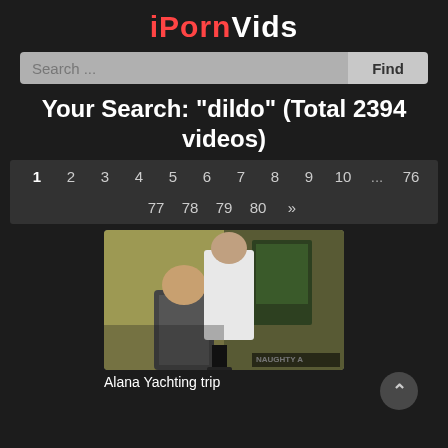iPornVids
Search ...
Find
Your Search: "dildo" (Total 2394 videos)
1 2 3 4 5 6 7 8 9 10 ... 76 77 78 79 80 »
[Figure (photo): Video thumbnail showing two people in a classroom setting]
Alana Yachting trip